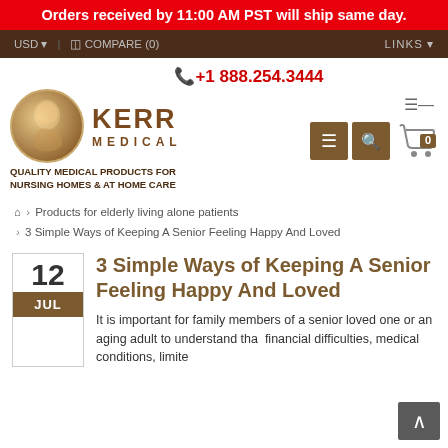Orders received by 11:00 AM PST will ship same day.
USD  |  COMPARE (0)  LINKS
[Figure (logo): Kerr Medical logo with circular emblem and text 'KERR MEDICAL - Quality Medical Products for Nursing Homes & At Home Care']
+1 888.254.3444
Home > Products for elderly living alone patients > 3 Simple Ways of Keeping A Senior Feeling Happy And Loved
3 Simple Ways of Keeping A Senior Feeling Happy And Loved
It is important for family members of a senior loved one or an aging adult to understand that financial difficulties, medical conditions, limited